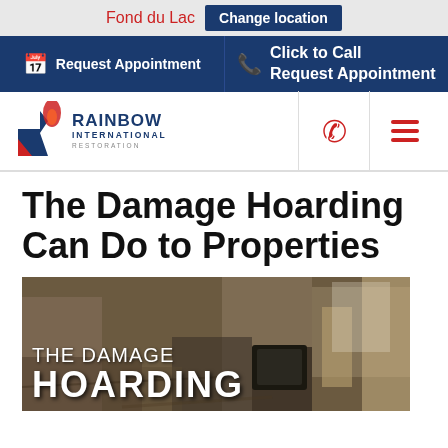Fond du Lac  Change location
Request Appointment  Click to Call Request Appointment
[Figure (logo): Rainbow International Restoration logo with stylized R icon]
The Damage Hoarding Can Do to Properties
[Figure (photo): Photo of a hoarded room filled with clutter and debris, overlaid with text 'THE DAMAGE HOARDING']